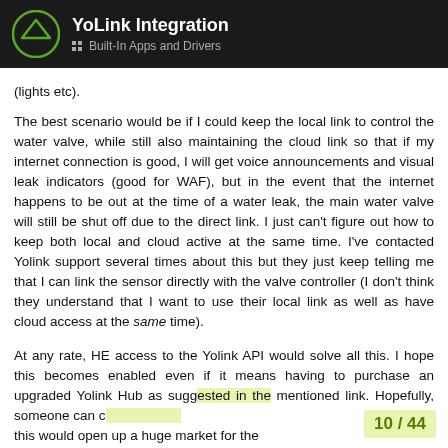YoLink Integration — Built-In Apps and Drivers
(lights etc).
The best scenario would be if I could keep the local link to control the water valve, while still also maintaining the cloud link so that if my internet connection is good, I will get voice announcements and visual leak indicators (good for WAF), but in the event that the internet happens to be out at the time of a water leak, the main water valve will still be shut off due to the direct link. I just can't figure out how to keep both local and cloud active at the same time. I've contacted Yolink support several times about this but they just keep telling me that I can link the sensor directly with the valve controller (I don't think they understand that I want to use their local link as well as have cloud access at the same time).
At any rate, HE access to the Yolink API would solve all this. I hope this becomes enabled even if it means having to purchase an upgraded Yolink Hub as suggested in the mentioned link. Hopefully, someone can c... this would open up a huge market for the...
10 / 44